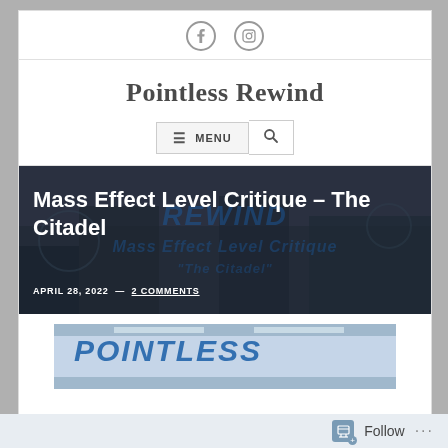[Figure (logo): Facebook and Instagram social icons in circle outlines]
Pointless Rewind
[Figure (screenshot): Navigation menu button with hamburger icon and MENU label, plus search icon button]
[Figure (photo): Hero banner image with dark overlay. Shows futuristic citadel-style architecture. Overlaid watermark text reads: REWIND / Mass Effect Level Critique / The Citadel]
Mass Effect Level Critique – The Citadel
APRIL 28, 2022 — 2 COMMENTS
[Figure (photo): Partial image showing POINTLESS text in blue graffiti-style lettering on a light background]